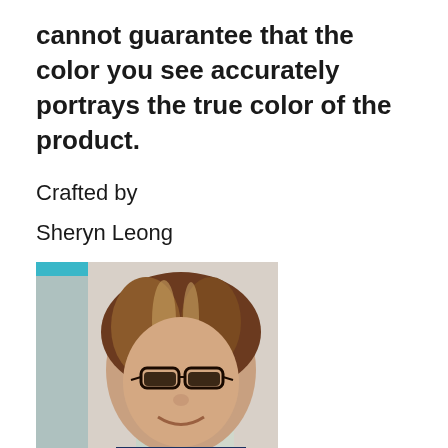cannot guarantee that the color you see accurately portrays the true color of the product.
Crafted by
Sheryn Leong
[Figure (photo): Portrait photo of Sheryn Leong, a woman with brown highlighted hair, glasses, wearing a floral top, smiling, photographed indoors.]
Handmade in Malaysia